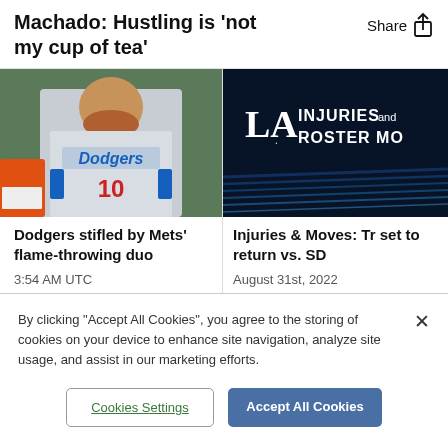Machado: Hustling is 'not my cup of tea'
Share
[Figure (photo): Baseball player in Dodgers uniform number 10 standing in dugout]
[Figure (illustration): LA Dodgers logo with text INJURIES and ROSTER MOVES on dark blue background]
Dodgers stifled by Mets' flame-throwing duo
Injuries & Moves: Tr set to return vs. SD
3:54 AM UTC
August 31st, 2022
By clicking "Accept All Cookies", you agree to the storing of cookies on your device to enhance site navigation, analyze site usage, and assist in our marketing efforts.
Cookies Settings
Accept All Cookies